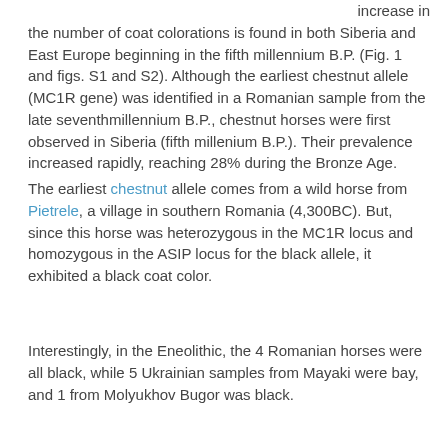increase in the number of coat colorations is found in both Siberia and East Europe beginning in the fifth millennium B.P. (Fig. 1 and figs. S1 and S2). Although the earliest chestnut allele (MC1R gene) was identified in a Romanian sample from the late seventhmillennium B.P., chestnut horses were first observed in Siberia (fifth millenium B.P.). Their prevalence increased rapidly, reaching 28% during the Bronze Age.
The earliest chestnut allele comes from a wild horse from Pietrele, a village in southern Romania (4,300BC). But, since this horse was heterozygous in the MC1R locus and homozygous in the ASIP locus for the black allele, it exhibited a black coat color.
Interestingly, in the Eneolithic, the 4 Romanian horses were all black, while 5 Ukrainian samples from Mayaki were bay, and 1 from Molyukhov Bugor was black.